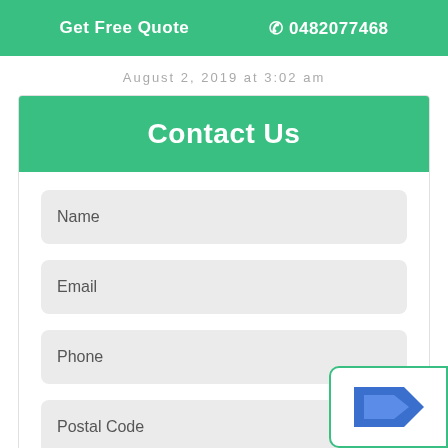Get Free Quote  📞 0482077468
August 2, 2019 at 3:02 am
Contact Us
Name
Email
Phone
Postal Code